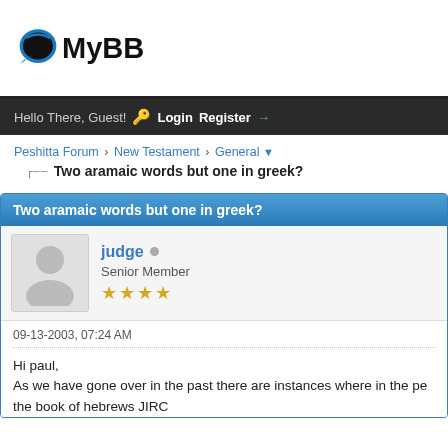[Figure (logo): MyBB forum logo with blue speech bubble icon and bold MyBB text]
Hello There, Guest! Login Register
Peshitta Forum › New Testament › General
Two aramaic words but one in greek?
Two aramaic words but one in greek?
judge · Senior Member ★★★★
09-13-2003, 07:24 AM
Hi paul,
As we have gone over in the past there are instances where in the pe the book of hebrews JIRC